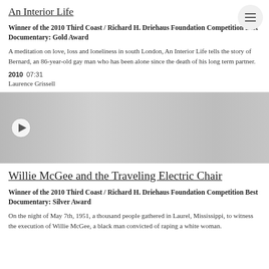An Interior Life
Winner of the 2010 Third Coast / Richard H. Driehaus Foundation Competition Best Documentary: Gold Award
A meditation on love, loss and loneliness in south London, An Interior Life tells the story of Bernard, an 86-year-old gay man who has been alone since the death of his long term partner.
2010  07:31
Laurence Grissell
[Figure (photo): Grayscale thumbnail image of a person's face, with a play button icon in the lower left corner]
Willie McGee and the Traveling Electric Chair
Winner of the 2010 Third Coast / Richard H. Driehaus Foundation Competition Best Documentary: Silver Award
On the night of May 7th, 1951, a thousand people gathered in Laurel, Mississippi, to witness the execution of Willie McGee, a black man convicted of raping a white woman.